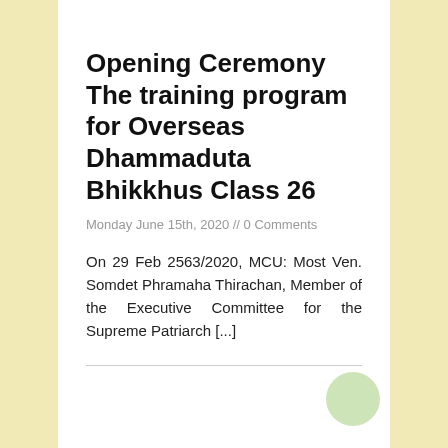Opening Ceremony The training program for Overseas Dhammaduta Bhikkhus Class 26
Monday June 15th, 2020 // 0 Comments
On 29 Feb 2563/2020, MCU: Most Ven. Somdet Phramaha Thirachan, Member of the Executive Committee for the Supreme Patriarch [...]